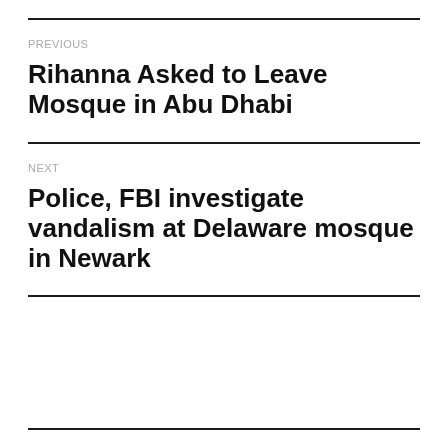PREVIOUS
Rihanna Asked to Leave Mosque in Abu Dhabi
NEXT
Police, FBI investigate vandalism at Delaware mosque in Newark